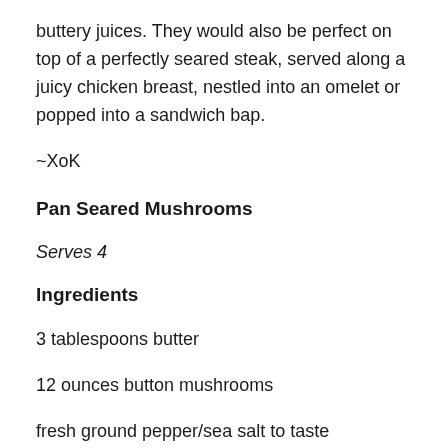buttery juices. They would also be perfect on top of a perfectly seared steak, served along a juicy chicken breast, nestled into an omelet or popped into a sandwich bap.
~XoK
Pan Seared Mushrooms
Serves 4
Ingredients
3 tablespoons butter
12 ounces button mushrooms
fresh ground pepper/sea salt to taste
Directions